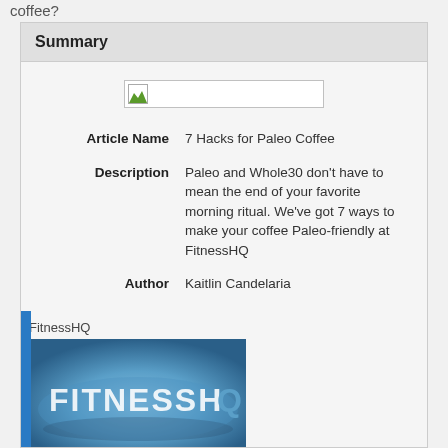coffee?
Summary
[Figure (other): Broken image placeholder with small landscape icon]
| Article Name | 7 Hacks for Paleo Coffee |
| Description | Paleo and Whole30 don't have to mean the end of your favorite morning ritual. We've got 7 ways to make your coffee Paleo-friendly at FitnessHQ |
| Author | Kaitlin Candelaria |
FitnessHQ
[Figure (photo): Blue FitnessHQ branded cloth/hat with white text reading FITNESSHQ]